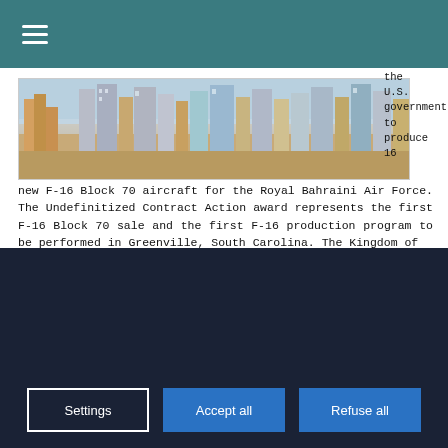☰ (navigation menu)
[Figure (photo): Aerial/skyline view of a city with multi-story buildings and urban landscape]
the U.S. government to produce 16 new F-16 Block 70 aircraft for the Royal Bahraini Air Force. The Undefinitized Contract Action award represents the first F-16 Block 70 sale and the first F-16 production program to be performed in Greenville, South Carolina. The Kingdom of
Our site Air Recognition uses cookies to perform visit statistics, share content on social networks and improve your experience. By refusing cookies, some services will not function properly. We store your choice for 30 days. You can change your mind by clicking on the 'Cookies' button at the bottom left of every page of our site. Learn more
Settings
Accept all
Refuse all